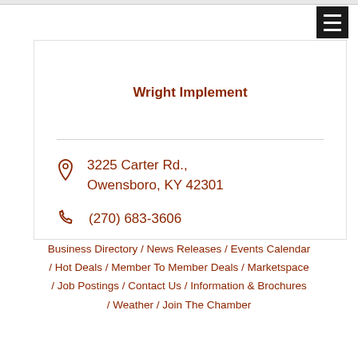[Figure (other): Hamburger menu icon button (three horizontal white lines on black background), top-right corner]
Wright Implement
3225 Carter Rd., Owensboro, KY 42301
(270) 683-3606
Business Directory / News Releases / Events Calendar / Hot Deals / Member To Member Deals / Marketspace / Job Postings / Contact Us / Information & Brochures / Weather / Join The Chamber